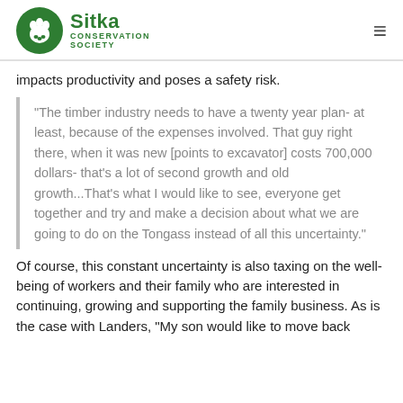Sitka Conservation Society
impacts productivity and poses a safety risk.
"The timber industry needs to have a twenty year plan- at least, because of the expenses involved. That guy right there, when it was new [points to excavator] costs 700,000 dollars- that's a lot of second growth and old growth...That's what I would like to see, everyone get together and try and make a decision about what we are going to do on the Tongass instead of all this uncertainty."
Of course, this constant uncertainty is also taxing on the well-being of workers and their family who are interested in continuing, growing and supporting the family business. As is the case with Landers, "My son would like to move back